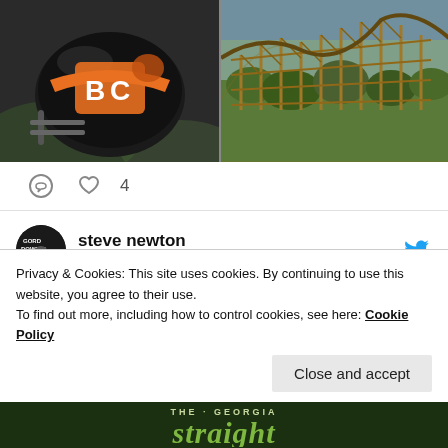[Figure (photo): Two photos side by side: left shows a BC Lions football helmet with orange and black coloring; right shows a wooden roller coaster structure photographed from above with trees in background.]
4
steve newton @earofnewt · Aug 24
#Vancouver music fans: pick up a copy of this week's @georgiastraight and check out my interviews with
Privacy & Cookies: This site uses cookies. By continuing to use this website, you agree to their use.
To find out more, including how to control cookies, see here: Cookie Policy
[Figure (photo): Bottom strip showing The Georgia Straight magazine logo/banner in green tones.]